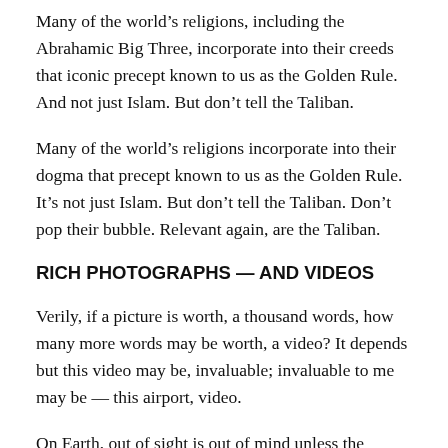Many of the world’s religions, including the Abrahamic Big Three, incorporate into their creeds that iconic precept known to us as the Golden Rule. And not just Islam. But don’t tell the Taliban.
Many of the world’s religions incorporate into their dogma that precept known to us as the Golden Rule. It’s not just Islam. But don’t tell the Taliban. Don’t pop their bubble. Relevant again, are the Taliban.
RICH PHOTOGRAPHS — AND VIDEOS
Verily, if a picture is worth, a thousand words, how many more words may be worth, a video? It depends but this video may be, invaluable; invaluable to me may be — this airport, video.
On Earth, out of sight is out of mind unless the cameras